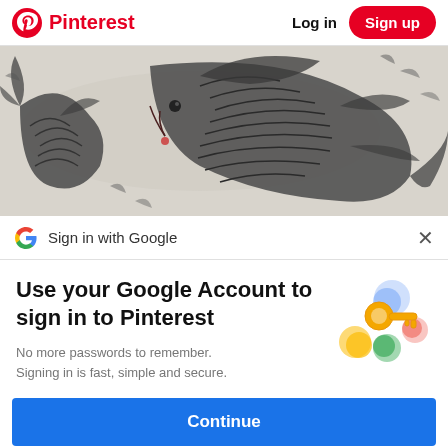Pinterest   Log in   Sign up
[Figure (illustration): Chinese ink painting of two large koi/carp fish with scales, fins, and whiskers on a light background]
G  Sign in with Google   ×
Use your Google Account to sign in to Pinterest
No more passwords to remember. Signing in is fast, simple and secure.
[Figure (illustration): Google passkey/key icon illustration showing a golden key with colorful circles (blue, green, red, yellow)]
Continue